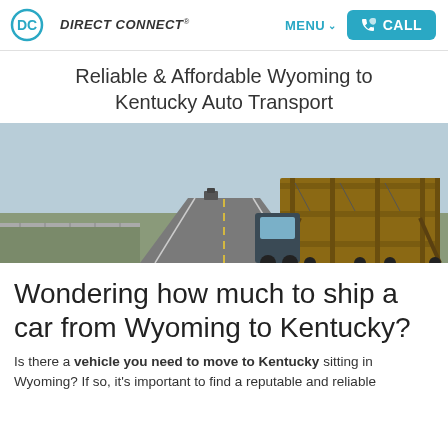DIRECT CONNECT® | MENU | CALL
Reliable & Affordable Wyoming to Kentucky Auto Transport
[Figure (photo): An empty car carrier truck trailer on a highway, viewed from behind at an angle, with flat farmland and a distant truck on the road. The carrier has multiple decks and metal ramps.]
Wondering how much to ship a car from Wyoming to Kentucky?
Is there a vehicle you need to move to Kentucky sitting in Wyoming? If so, it's important to find a reputable and reliable